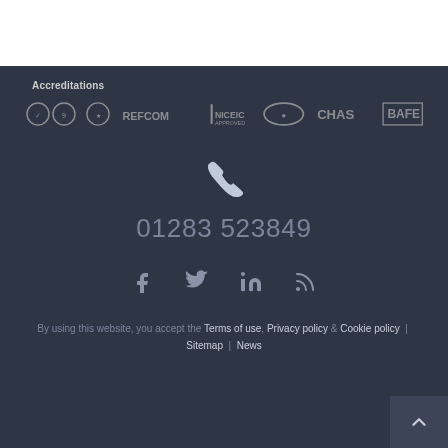Accreditations
[Figure (logo): Row of accreditation logos: two circular/badge logos, REFCOM logo, NICEIC Approved Contractor logo, a circular badge logo, CHAS logo, BAFE logo]
[Figure (illustration): White telephone/phone handset icon]
01283 523849
[Figure (illustration): Social media icons: Facebook, Twitter, LinkedIn, RSS feed]
By using this website, you accept the Terms of use, Privacy policy & Cookie policy | Sitemap | News